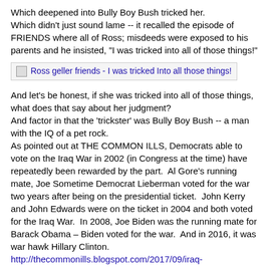Which deepened into Bully Boy Bush tricked her.
Which didn't just sound lame -- it recalled the episode of FRIENDS where all of Ross; misdeeds were exposed to his parents and he insisted, "I was tricked into all of those things!"
[Figure (illustration): Broken image placeholder with text: Ross geller friends - I was tricked Into all those things!]
And let's be honest, if she was tricked into all of those things, what does that say about her judgment?
And factor in that the 'trickster' was Bully Boy Bush -- a man with the IQ of a pet rock.
As pointed out at THE COMMON ILLS, Democrats able to vote on the Iraq War in 2002 (in Congress at the time) have repeatedly been rewarded by the part.  Al Gore's running mate, Joe Sometime Democrat Lieberman voted for the war two years after being on the presidential ticket.  John Kerry and John Edwards were on the ticket in 2004 and both voted for the Iraq War.  In 2008, Joe Biden was the running mate for Barack Obama – Biden voted for the war.  And in 2016, it was war hawk Hillary Clinton.
http://thecommonills.blogspot.com/2017/09/iraq-